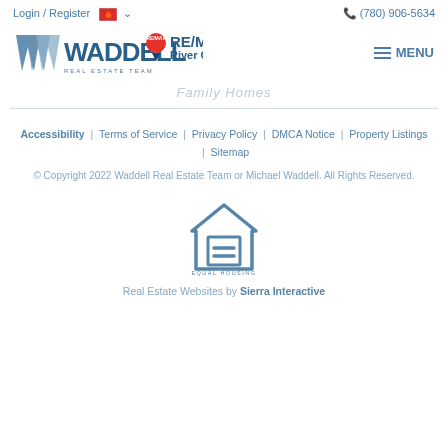Login / Register   (780) 906-5634
[Figure (logo): Waddell Real Estate Team RE/MAX River City logo with hamburger menu button]
Family Homes
Accessibility  |  Terms of Service  |  Privacy Policy  |  DMCA Notice  |  Property Listings  |  Sitemap
© Copyright 2022 Waddell Real Estate Team or Michael Waddell. All Rights Reserved.
[Figure (logo): Equal Housing Opportunity logo — house outline with equal sign inside]
Real Estate Websites by Sierra Interactive